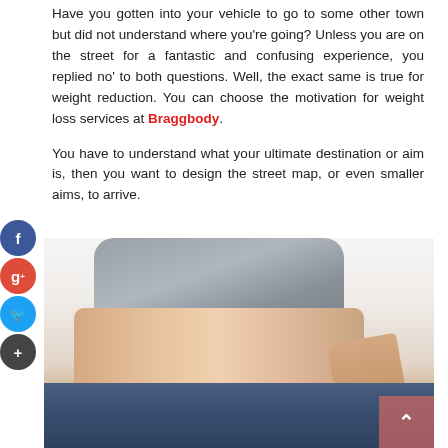Have you gotten into your vehicle to go to some other town but did not understand where you're going? Unless you are on the street for a fantastic and confusing experience, you replied no' to both questions. Well, the exact same is true for weight reduction. You can choose the motivation for weight loss services at Braggbody.
You have to understand what your ultimate destination or aim is, then you want to design the street map, or even smaller aims, to arrive.
[Figure (photo): A woman lifting her oversized jeans to show weight loss result, torso visible with gray top and bare midriff]